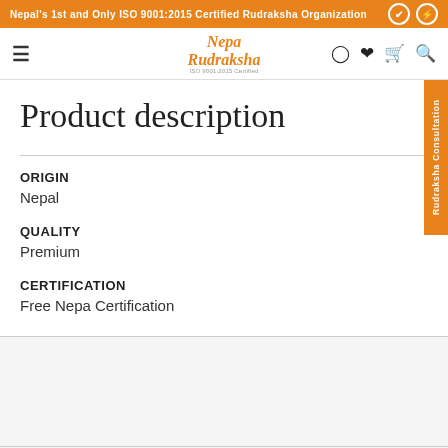Nepal's 1st and Only ISO 9001:2015 Certified Rudraksha Organization
[Figure (logo): Nepa Rudraksha logo with ISO 9001:2015 Certified text]
Product description
ORIGIN
Nepal
QUALITY
Premium
CERTIFICATION
Free Nepa Certification